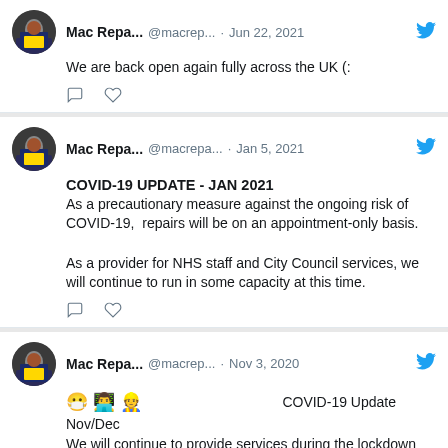[Figure (screenshot): Twitter/social media feed showing three tweets from Mac Repa... (@macrep... / @macrepa...) about COVID-19 updates for a UK repair business]
Mac Repa... @macrep... · Jun 22, 2021
We are back open again fully across the UK (:
Mac Repa... @macrepa... · Jan 5, 2021
COVID-19 UPDATE - JAN 2021
As a precautionary measure against the ongoing risk of COVID-19, repairs will be on an appointment-only basis.

As a provider for NHS staff and City Council services, we will continue to run in some capacity at this time.
Mac Repa... @macrep... · Nov 3, 2020
😷 👨‍💻 👷 COVID-19 Update
Nov/Dec
We will continue to provide services during the lockdown but you may need to pre-book in